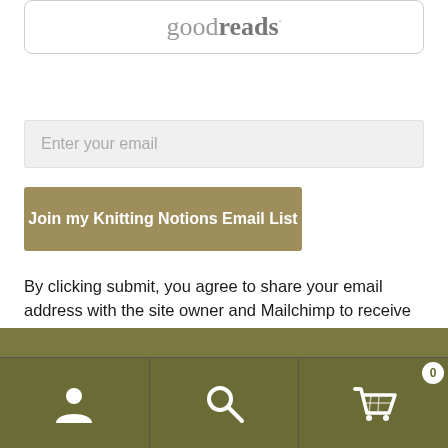[Figure (logo): Goodreads logo inside a rounded rectangle card]
Enter your email
Join my Knitting Notions Email List
By clicking submit, you agree to share your email address with the site owner and Mailchimp to receive marketing, updates, and other emails from the site owner. Use the unsubscribe link in those emails to opt out at any time.
[Figure (other): Olive/khaki colored footer bar with navigation icons: user/account icon, search icon, and shopping cart icon with badge showing 0]